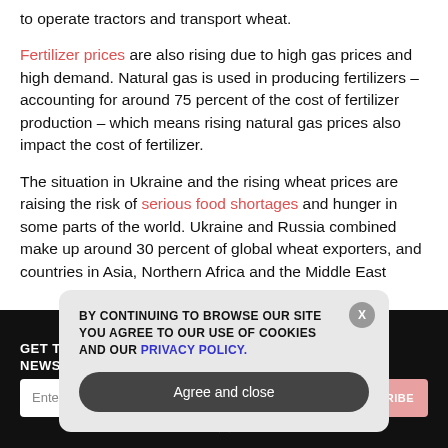to operate tractors and transport wheat.
Fertilizer prices are also rising due to high gas prices and high demand. Natural gas is used in producing fertilizers – accounting for around 75 percent of the cost of fertilizer production – which means rising natural gas prices also impact the cost of fertilizer.
The situation in Ukraine and the rising wheat prices are raising the risk of serious food shortages and hunger in some parts of the world. Ukraine and Russia combined make up around 30 percent of global wheat exporters, and countries in Asia, Northern Africa and the Middle East
GET THE WORLD'S BEST INDEPENDENT MEDIA NEWSLETTER DELIVERED STRAIGHT TO YOUR INBOX.
BY CONTINUING TO BROWSE OUR SITE YOU AGREE TO OUR USE OF COOKIES AND OUR PRIVACY POLICY.
Agree and close